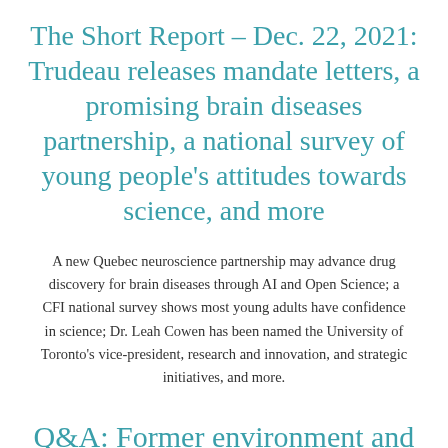The Short Report – Dec. 22, 2021: Trudeau releases mandate letters, a promising brain diseases partnership, a national survey of young people's attitudes towards science, and more
A new Quebec neuroscience partnership may advance drug discovery for brain diseases through AI and Open Science; a CFI national survey shows most young adults have confidence in science; Dr. Leah Cowen has been named the University of Toronto's vice-president, research and innovation, and strategic initiatives, and more.
Q&A: Former environment and